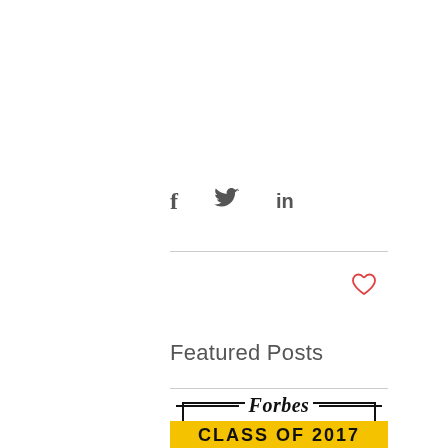[Figure (other): Social media share icons: Facebook (f), Twitter (bird), LinkedIn (in)]
[Figure (other): Heart/like icon (outline heart shape in red/pink)]
Featured Posts
[Figure (logo): Forbes 30 Under 30 Class of 2017 logo badge with yellow numbers and black UNDER text]